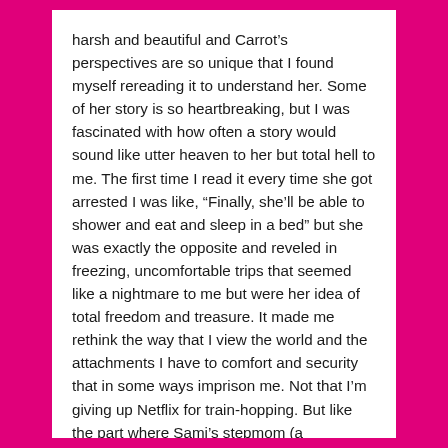harsh and beautiful and Carrot's perspectives are so unique that I found myself rereading it to understand her. Some of her story is so heartbreaking, but I was fascinated with how often a story would sound like utter heaven to her but total hell to me. The first time I read it every time she got arrested I was like, “Finally, she’ll be able to shower and eat and sleep in a bed” but she was exactly the opposite and reveled in freezing, uncomfortable trips that seemed like a nightmare to me but were her idea of total freedom and treasure. It made me rethink the way that I view the world and the attachments I have to comfort and security that in some ways imprison me. Not that I’m giving up Netflix for train-hopping. But like the part where Sami’s stepmom (a successful Hollywood costume designer) says she’s not happy with her